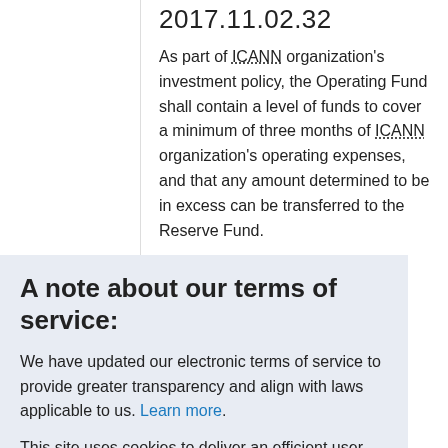2017.11.02.32
As part of ICANN organization's investment policy, the Operating Fund shall contain a level of funds to cover a minimum of three months of ICANN organization's operating expenses, and that any amount determined to be in excess can be transferred to the Reserve Fund.
A note about our terms of service:
We have updated our electronic terms of service to provide greater transparency and align with laws applicable to us. Learn more.
This site uses cookies to deliver an efficient user experience and to help us see how the site is used. Learn more. ✕ OK